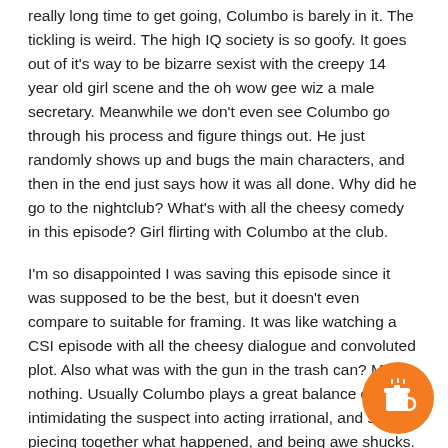really long time to get going, Columbo is barely in it. The tickling is weird. The high IQ society is so goofy. It goes out of it's way to be bizarre sexist with the creepy 14 year old girl scene and the oh wow gee wiz a male secretary. Meanwhile we don't even see Columbo go through his process and figure things out. He just randomly shows up and bugs the main characters, and then in the end just says how it was all done. Why did he go to the nightclub? What's with all the cheesy comedy in this episode? Girl flirting with Columbo at the club.
I'm so disappointed I was saving this episode since it was supposed to be the best, but it doesn't even compare to suitable for framing. It was like watching a CSI episode with all the cheesy dialogue and convoluted plot. Also what was with the gun in the trash can? Meant nothing. Usually Columbo plays a great balance of intimidating the suspect into acting irrational, and slowly piecing together what happened, and being awe shucks. But he seemed like he was just bumbling around all episode being weird.
This episode just wasted time until the final scene, could have chopped 45 minutes out.
[Figure (illustration): Orange circular button with a coffee cup icon in the bottom-right corner of the page]